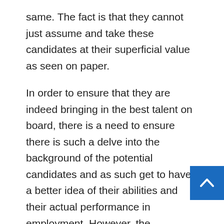same. The fact is that they cannot just assume and take these candidates at their superficial value as seen on paper.
In order to ensure that they are indeed bringing in the best talent on board, there is a need to ensure there is such a delve into the background of the potential candidates and as such get to have a better idea of their abilities and their actual performance in employment. However, the challenge that most often face is the fact that as they go about this, they need to make sure that they are within the relevant laws and as well respect the personal privacy of the candidates that they are looking forward to screen. By and large, background checks are just for the sake of helping evaluate the aptitude and skills of the candidates and this is to be the primary goal behind every background checking. The following are